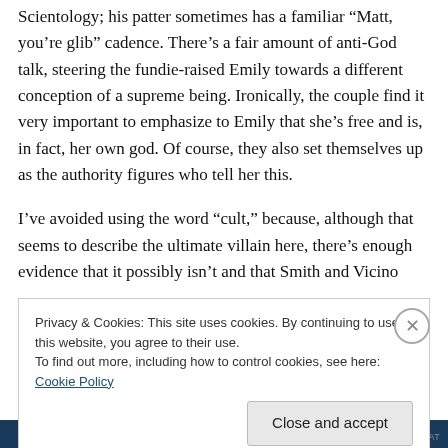Scientology; his patter sometimes has a familiar “Matt, you’re glib” cadence. There’s a fair amount of anti-God talk, steering the fundie-raised Emily towards a different conception of a supreme being. Ironically, the couple find it very important to emphasize to Emily that she’s free and is, in fact, her own god. Of course, they also set themselves up as the authority figures who tell her this.

I’ve avoided using the word “cult,” because, although that seems to describe the ultimate villain here, there’s enough evidence that it possibly isn’t and that Smith and Vicino
Privacy & Cookies: This site uses cookies. By continuing to use this website, you agree to their use.
To find out more, including how to control cookies, see here: Cookie Policy
Close and accept